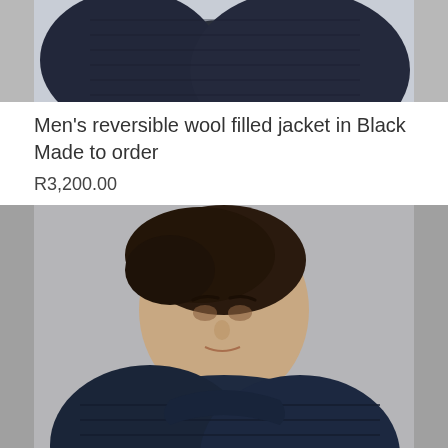[Figure (photo): Top portion of a man wearing a dark navy/black quilted reversible wool filled jacket, showing body from neck down, grey background]
Men's reversible wool filled jacket in Black Made to order
R3,200.00
[Figure (photo): Close-up portrait of a young man with dark hair wearing a navy quilted jacket with hood, grey background]
Men's reversible wool filled jacket in Black and